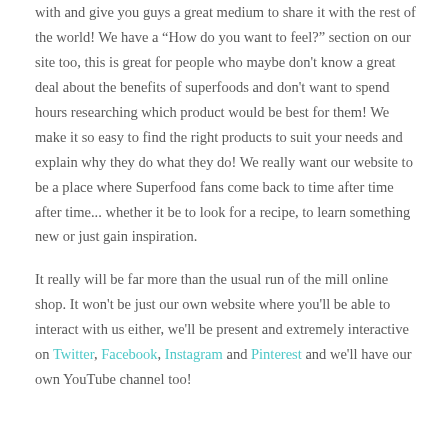with and give you guys a great medium to share it with the rest of the world! We have a “How do you want to feel?” section on our site too, this is great for people who maybe don't know a great deal about the benefits of superfoods and don't want to spend hours researching which product would be best for them! We make it so easy to find the right products to suit your needs and explain why they do what they do! We really want our website to be a place where Superfood fans come back to time after time after time... whether it be to look for a recipe, to learn something new or just gain inspiration.
It really will be far more than the usual run of the mill online shop. It won't be just our own website where you'll be able to interact with us either, we'll be present and extremely interactive on Twitter, Facebook, Instagram and Pinterest and we'll have our own YouTube channel too!